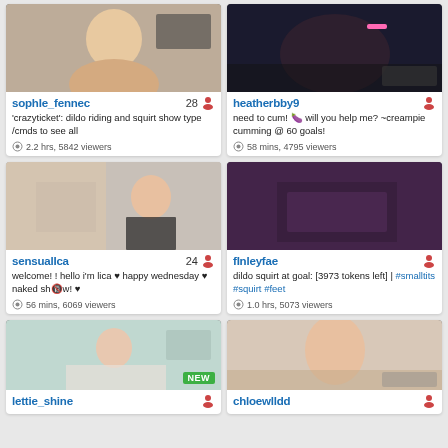[Figure (screenshot): Webcam stream thumbnail of sophie_fennec]
sophIe_fennec 28 | 'crazyticket': dildo riding and squirt show type /cmds to see all | 2.2 hrs, 5842 viewers
[Figure (screenshot): Webcam stream thumbnail of heatherbby9]
heatherbby9 | need to cum! will you help me? ~creampie cumming @ 60 goals! | 58 mins, 4795 viewers
[Figure (screenshot): Webcam stream thumbnail of sensualica]
sensualica 24 | welcome! ! hello i'm lica ♥ happy wednesday ♥ naked show! ♥ | 56 mins, 6069 viewers
[Figure (screenshot): Webcam stream thumbnail of finleyfae]
finleyfae | dildo squirt at goal: [3973 tokens left] | #smalltits #squirt #feet | 1.0 hrs, 5073 viewers
[Figure (screenshot): Webcam stream thumbnail of lettie_shine, NEW badge]
lettie_shine
[Figure (screenshot): Webcam stream thumbnail of chloewlldd]
chloewlldd